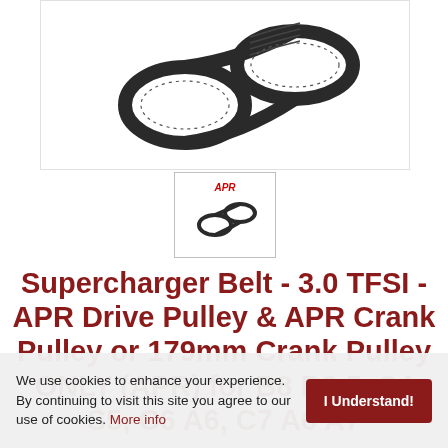[Figure (photo): Close-up photo of a black serpentine/supercharger belt looped on a white background, showing the ribbed texture on the inner surface]
[Figure (photo): Thumbnail image of the same supercharger belt with APR logo in red at the top]
Supercharger Belt - 3.0 TFSI - APR Drive Pulley & APR Crank Pulley or 179mm Crank Pulley ONLY (APR) for B8 B8.5, S4 S5, C6 A6, C7 A6 A7...
We use cookies to enhance your experience. By continuing to visit this site you agree to our use of cookies. More info